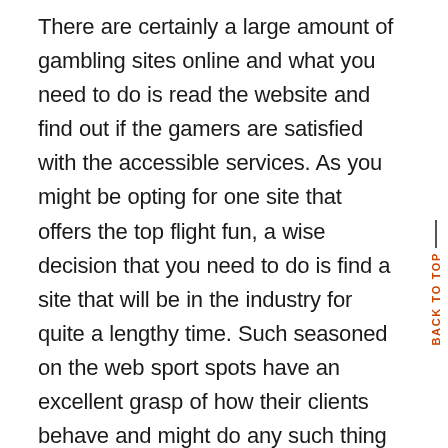There are certainly a large amount of gambling sites online and what you need to do is read the website and find out if the gamers are satisfied with the accessible services. As you might be opting for one site that offers the top flight fun, a wise decision that you need to do is find a site that will be in the industry for quite a lengthy time. Such seasoned on the web sport spots have an excellent grasp of how their clients behave and might do any such thing just to please them; while new web sites are still testing the waters. Why is the net an excellent position to locate is basically because the research sometimes happens actually quickly, as you can see a listing of websites in just a couple ticks and you can easily evaluate one site contrary to the other. With trustworthy internet